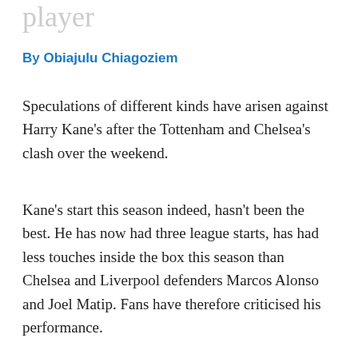player
By Obiajulu Chiagoziem
Speculations of different kinds have arisen against Harry Kane's after the Tottenham and Chelsea's clash over the weekend.
Kane's start this season indeed, hasn't been the best. He has now had three league starts, has had less touches inside the box this season than Chelsea and Liverpool defenders Marcos Alonso and Joel Matip. Fans have therefore criticised his performance.